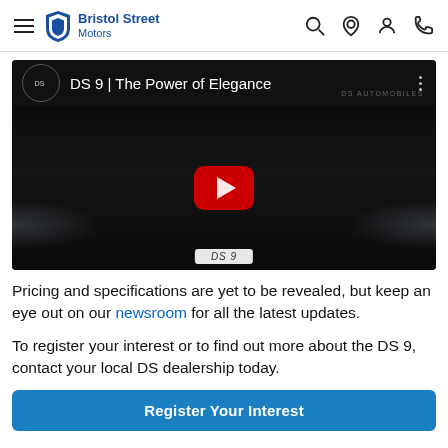Bristol Street Motors
[Figure (screenshot): YouTube video thumbnail showing DS 9 | The Power of Elegance with a dark car image and red play button]
Pricing and specifications are yet to be revealed, but keep an eye out on our newsroom for all the latest updates.
To register your interest or to find out more about the DS 9, contact your local DS dealership today.
Register Your Interest